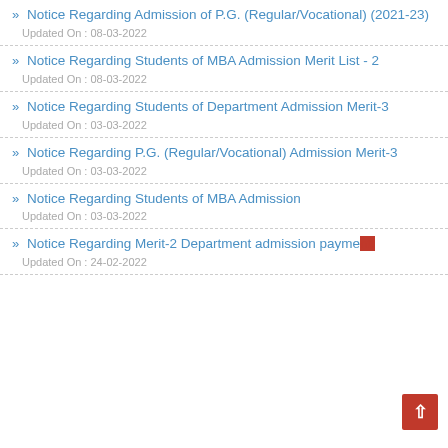» Notice Regarding Admission of P.G. (Regular/Vocational) (2021-23)
Updated On : 08-03-2022
» Notice Regarding Students of MBA Admission Merit List - 2
Updated On : 08-03-2022
» Notice Regarding Students of Department Admission Merit-3
Updated On : 03-03-2022
» Notice Regarding P.G. (Regular/Vocational) Admission Merit-3
Updated On : 03-03-2022
» Notice Regarding Students of MBA Admission
Updated On : 03-03-2022
» Notice Regarding Merit-2 Department admission payment.
Updated On : 24-02-2022